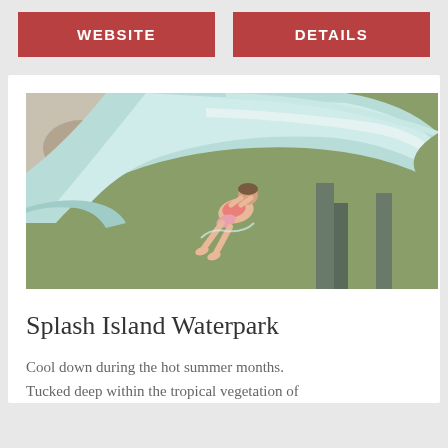WEBSITE
DETAILS
[Figure (photo): Aerial view of a child sliding down a light blue water slide at a waterpark, with green grass visible below]
Splash Island Waterpark
Cool down during the hot summer months. Tucked deep within the tropical vegetation of